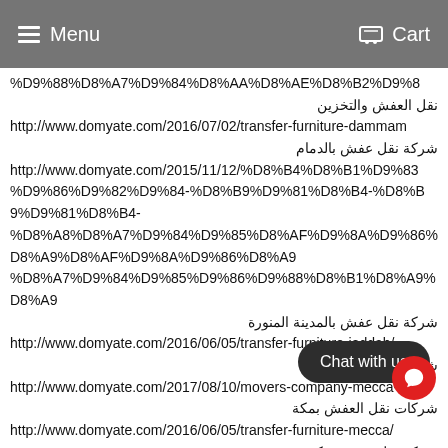Menu   Cart
%D9%88%D8%A7%D9%84%D8%AA%D8%AE%D8%B2%D9%8... نقل العفش والتخزين http://www.domyate.com/2016/07/02/transfer-furniture-dammam شركة نقل عفش بالدمام http://www.domyate.com/2015/11/12/%D8%B4%D8%B1%D9%83... %D9%86%D9%82%D9%84-%D8%B9%D9%81%D8%B4- %D8%A8%D8%A7%D9%84%D9%85%D8%AF%D9%8A%D9%86... %D8%A7%D9%84%D9%85%D9%86%D9%88%D8%B1%D8%A9 شركة نقل عفش بالمدينة المنورة http://www.domyate.com/2016/06/05/transfer-furniture-jeddah/ شركة نقل عفش بجدة http://www.domyate.com/2017/08/10/movers-company-mecca-naql/ شركات نقل العفش بمكة http://www.domyate.com/2016/06/05/transfer-furniture-mecca/ شركة نقل عفش بمكة http://www.domyate.com/2016/06/05/tra... شركة نقل عفش بالطائف http://www.domyate.com/2016/06/05/transfer-furniture-riya... شركة نقل عفش بالرياض